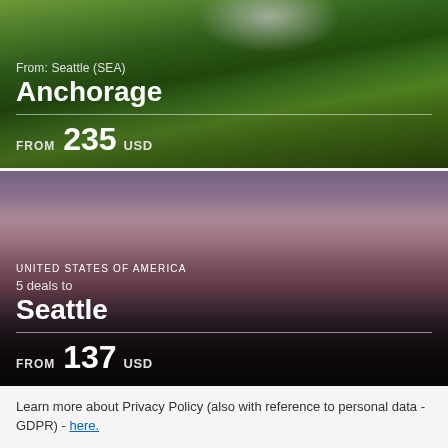[Figure (photo): Mountain landscape with dense green forest — Anchorage destination card showing FROM 235 USD]
[Figure (photo): Seattle skyline at dusk with Space Needle — Seattle destination card showing 5 deals, FROM 137 USD]
Learn more about Privacy Policy (also with reference to personal data - GDPR) - here.
Accept